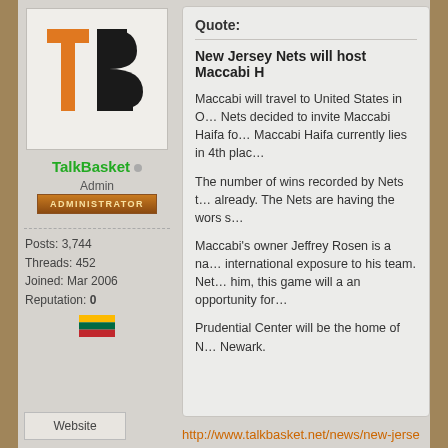[Figure (logo): TalkBasket logo with orange T and black B letters]
TalkBasket • Admin
[Figure (other): Orange ADMINISTRATOR badge button]
Posts: 3,744
Threads: 452
Joined: Mar 2006
Reputation: 0
[Figure (illustration): Lithuanian flag (yellow, green, red horizontal stripes)]
Quote:

New Jersey Nets will host Maccabi H

Maccabi will travel to United States in O… Nets decided to invite Maccabi Haifa fo… Maccabi Haifa currently lies in 4th plac…

The number of wins recorded by Nets t… already. The Nets are having the wors s…

Maccabi's owner Jeffrey Rosen is a na… international exposure to his team. Net… him, this game will a an opportunity for…

Prudential Center will be the home of N… Newark.
http://www.talkbasket.net/news/new-jerse
Website